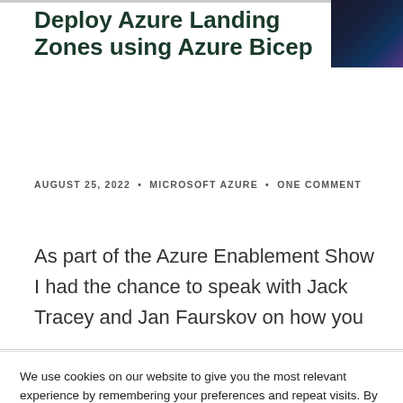Deploy Azure Landing Zones using Azure Bicep
AUGUST 25, 2022 • MICROSOFT AZURE • ONE COMMENT
As part of the Azure Enablement Show I had the chance to speak with Jack Tracey and Jan Faurskov on how you
We use cookies on our website to give you the most relevant experience by remembering your preferences and repeat visits. By clicking “Accept All”, you consent to the use of ALL the cookies. However, you may visit “Cookie Settings” to provide a controlled consent.